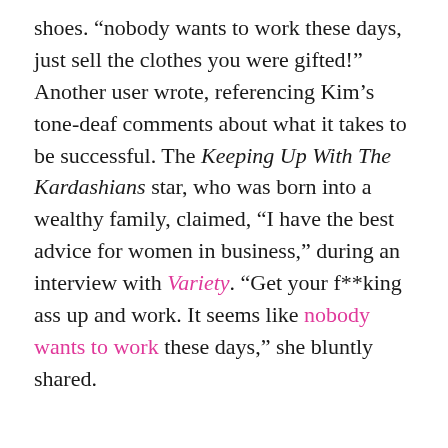shoes. “nobody wants to work these days, just sell the clothes you were gifted!” Another user wrote, referencing Kim’s tone-deaf comments about what it takes to be successful. The Keeping Up With The Kardashians star, who was born into a wealthy family, claimed, “I have the best advice for women in business,” during an interview with Variety. “Get your f**king ass up and work. It seems like nobody wants to work these days,” she bluntly shared.